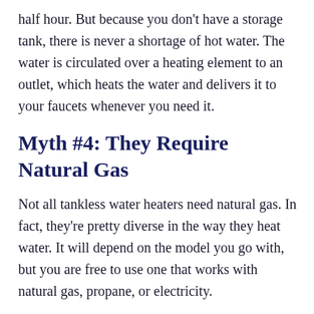half hour. But because you don't have a storage tank, there is never a shortage of hot water. The water is circulated over a heating element to an outlet, which heats the water and delivers it to your faucets whenever you need it.
Myth #4: They Require Natural Gas
Not all tankless water heaters need natural gas. In fact, they're pretty diverse in the way they heat water. It will depend on the model you go with, but you are free to use one that works with natural gas, propane, or electricity.
Myth #5: TheyDeliver Hot Water Instantaneously
Not quite instantaneously, although pretty fast. Tankless water heaters, by definition, heat on command, which makes them very